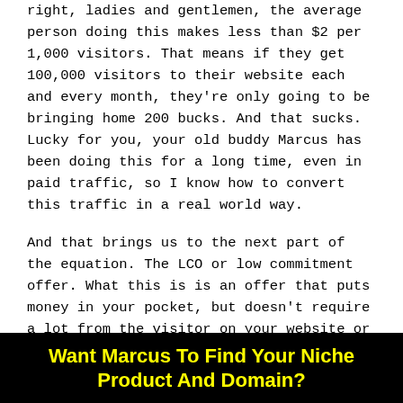right, ladies and gentlemen, the average person doing this makes less than $2 per 1,000 visitors. That means if they get 100,000 visitors to their website each and every month, they're only going to be bringing home 200 bucks. And that sucks. Lucky for you, your old buddy Marcus has been doing this for a long time, even in paid traffic, so I know how to convert this traffic in a real world way.
And that brings us to the next part of the equation. The LCO or low commitment offer. What this is is an offer that puts money in your pocket, but doesn't require a lot from the visitor on your website or blog. In the beginning, you saw some of these like DoorDash and the other offers I was talking about. But
Want Marcus To Find Your Niche Product And Domain?